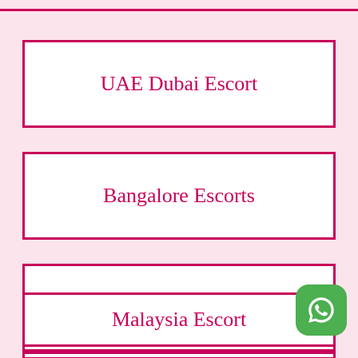UAE Dubai Escort
Bangalore Escorts
Doha Qatar Escort
Malaysia Escort
[Figure (other): WhatsApp contact icon, green rounded square with white WhatsApp phone logo]